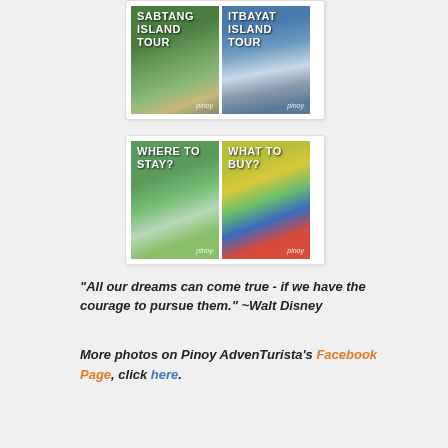[Figure (photo): Two travel guide images in a card layout: 'SABTANG ISLAND TOUR' showing a stone building with a boat, and 'ITBAYAT ISLAND TOUR' showing boats near rocky cliffs, both with 'pinoy' watermark]
[Figure (photo): Two travel guide images in a card layout: 'WHERE TO STAY?' showing a green lawn bungalow, and 'WHAT TO BUY?' showing a colorful souvenir shop, both with 'pinoy' watermark]
"All our dreams can come true - if we have the courage to pursue them." ~Walt Disney
More photos on Pinoy AdvenTurista's Facebook Page, click here.